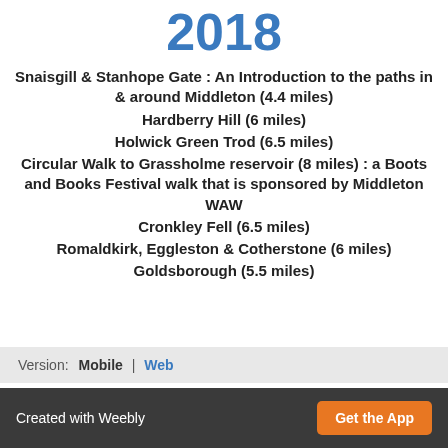2018
Snaisgill & Stanhope Gate : An Introduction to the paths in & around Middleton (4.4 miles)
Hardberry Hill (6 miles)
Holwick Green Trod (6.5 miles)
Circular Walk to Grassholme reservoir (8 miles) : a Boots and Books Festival walk that is sponsored by Middleton WAW
Cronkley Fell (6.5 miles)
Romaldkirk, Eggleston & Cotherstone (6 miles)
Goldsborough (5.5 miles)
Version:  Mobile | Web
Created with Weebly  Get the App